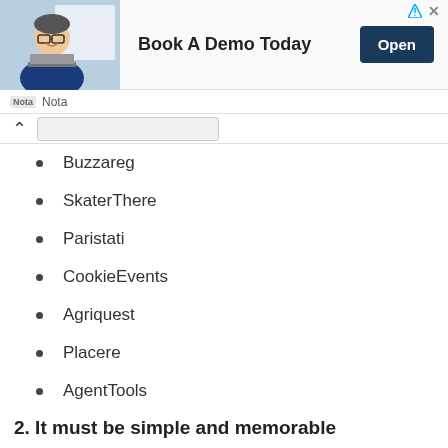[Figure (illustration): Advertisement banner: photo of a smiling man in a blue shirt at a laptop, with text 'Book A Demo Today' and an 'Open' button. Nota branding below.]
Buzzareg
SkaterThere
Paristati
CookieEvents
Agriquest
Placere
AgentTools
LolLabs
DollCanyons
Aprilahoy
2. It must be simple and memorable